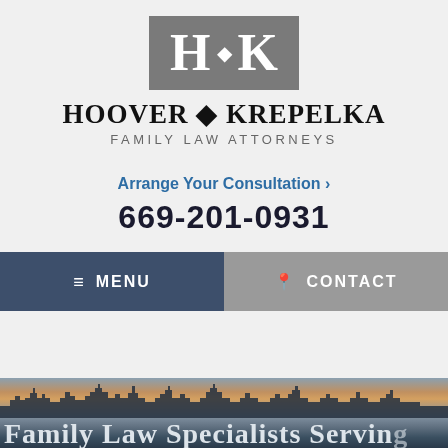[Figure (logo): Hoover Krepelka law firm logo: gray rectangle with white H and K letters and diamond symbol]
HOOVER ◆ KREPELKA
FAMILY LAW ATTORNEYS
Arrange Your Consultation >
669-201-0931
≡ MENU
CONTACT
[Figure (photo): Cityscape skyline at dusk with colorful sunset sky, partially visible at bottom of page]
Family Law Specialists Serving...